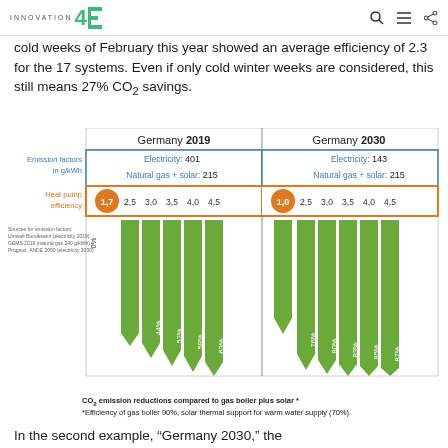INNOVATION4E
cold weeks of February this year showed an average efficiency of 2.3 for the 17 systems. Even if only cold winter weeks are considered, this still means 27% CO₂ savings.
[Figure (grouped-bar-chart): CO₂ emission reductions compared to gas boiler plus solar]
CO₂ emission reductions compared to gas boiler plus solar * *Efficiency of gas boiler 90%, solar thermal support for warm water supply (70%)
In the second example, "Germany 2030," the